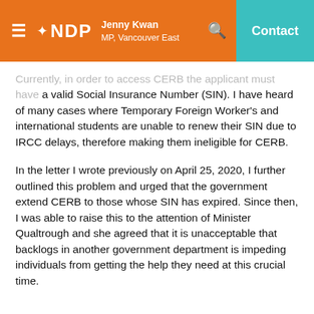Jenny Kwan MP, Vancouver East — NDP
Currently, in order to access CERB the applicant must have a valid Social Insurance Number (SIN). I have heard of many cases where Temporary Foreign Worker's and international students are unable to renew their SIN due to IRCC delays, therefore making them ineligible for CERB.
In the letter I wrote previously on April 25, 2020, I further outlined this problem and urged that the government extend CERB to those whose SIN has expired. Since then, I was able to raise this to the attention of Minister Qualtrough and she agreed that it is unacceptable that backlogs in another government department is impeding individuals from getting the help they need at this crucial time.